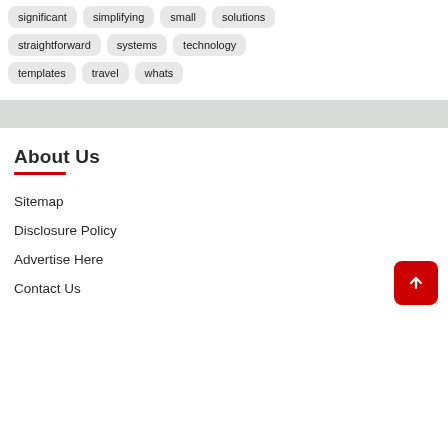significant
simplifying
small
solutions
straightforward
systems
technology
templates
travel
whats
About Us
Sitemap
Disclosure Policy
Advertise Here
Contact Us